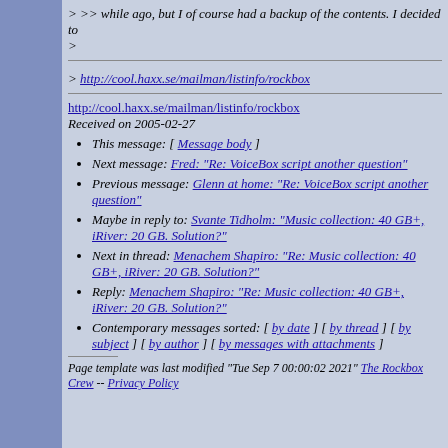> >> while ago, but I of course had a backup of the contents. I decided to
>
> http://cool.haxx.se/mailman/listinfo/rockbox
http://cool.haxx.se/mailman/listinfo/rockbox
Received on 2005-02-27
This message: [ Message body ]
Next message: Fred: "Re: VoiceBox script another question"
Previous message: Glenn at home: "Re: ViceBox script another question"
Maybe in reply to: Svante Tidholm: "Music collection: 40 GB+, iRiver: 20 GB. Solution?"
Next in thread: Menachem Shapiro: "Re: Music collection: 40 GB+, iRiver: 20 GB. Solution?"
Reply: Menachem Shapiro: "Re: Music collection: 40 GB+, iRiver: 20 GB. Solution?"
Contemporary messages sorted: [ by date ] [ by thread ] [ by subject ] [ by author ] [ by messages with attachments ]
Page template was last modified "Tue Sep 7 00:00:02 2021" The Rockbox Crew -- Privacy Policy